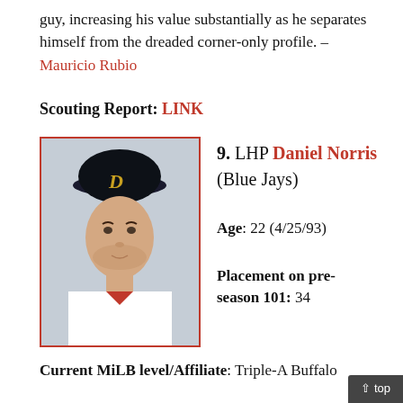guy, increasing his value substantially as he separates himself from the dreaded corner-only profile. – Mauricio Rubio
Scouting Report: LINK
[Figure (photo): Headshot photo of Daniel Norris wearing a Detroit Tigers baseball cap and jersey]
9. LHP Daniel Norris (Blue Jays)
Age: 22 (4/25/93)
Placement on pre-season 101: 34
Current MiLB level/Affiliate: Triple-A Buffalo
Developmental Update: After starting the year in the...